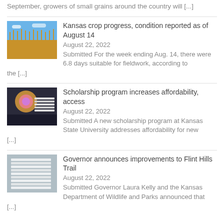September, growers of small grains around the country will [...]
[Figure (photo): Wheat field with blue sky]
Kansas crop progress, condition reported as of August 14
August 22, 2022
Submitted For the week ending Aug. 14, there were 6.8 days suitable for fieldwork, according to the [...]
[Figure (photo): Stack of papers or books on laptop with colorful light]
Scholarship program increases affordability, access
August 22, 2022
Submitted A new scholarship program at Kansas State University addresses affordability for new [...]
[Figure (photo): Stack of papers or documents]
Governor announces improvements to Flint Hills Trail
August 22, 2022
Submitted Governor Laura Kelly and the Kansas Department of Wildlife and Parks announced that [...]